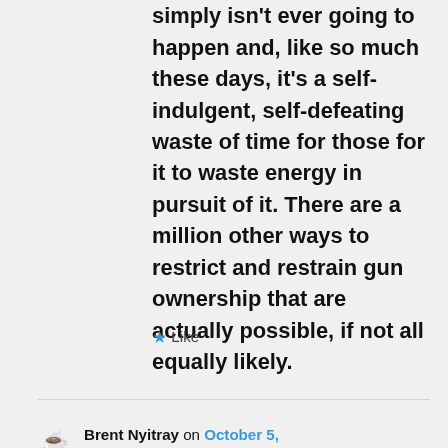simply isn't ever going to happen and, like so much these days, it's a self-indulgent, self-defeating waste of time for those for it to waste energy in pursuit of it. There are a million other ways to restrict and restrain gun ownership that are actually possible, if not all equally likely.
★ Like
Brent Nyitray on October 5, 2017 at 1:25 pm